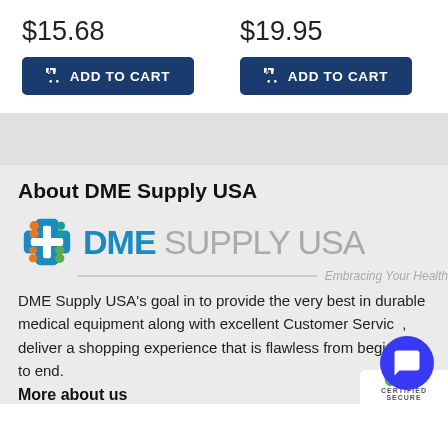$15.68
ADD TO CART
$19.95
ADD TO CART
About DME Supply USA
[Figure (logo): DME Supply USA logo with colorful cross icon and tagline 'Embracing Your Health']
DME Supply USA's goal in to provide the very best in durable medical equipment along with excellent Customer Service, deliver a shopping experience that is flawless from beginning to end.
More about us